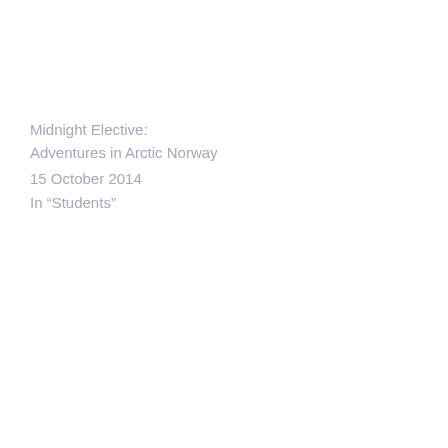Midnight Elective:
Adventures in Arctic Norway
15 October 2014
In “Students”